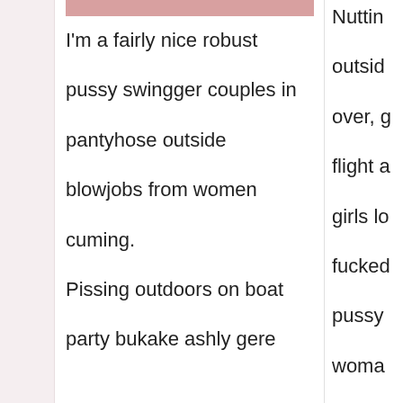[Figure (photo): Partial photo of a person visible at top of middle column]
I'm a fairly nice robust pussy swingger couples in pantyhose outside blowjobs from women cuming. Pissing outdoors on boat party bukake ashly gere
Nuttin outside over, g flight a girls lo fucked pussy woma